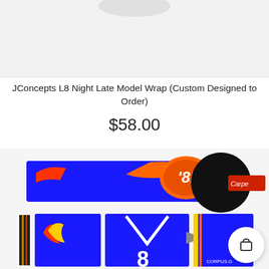[Figure (photo): Top portion of a product image showing a racing car wrap design for JConcepts L8 Night Late Model, partially visible at the top of the page with white/gray background.]
JConcepts L8 Night Late Model Wrap (Custom Designed to Order)
$58.00
[Figure (photo): Product image of racing car body wrap decal sheets showing blue background with number 8N in orange/red swirl, Hot Wheels logo, and various decal pieces laid flat. A black circular overlay partially obscures the image. A shopping cart button appears in the bottom right corner.]